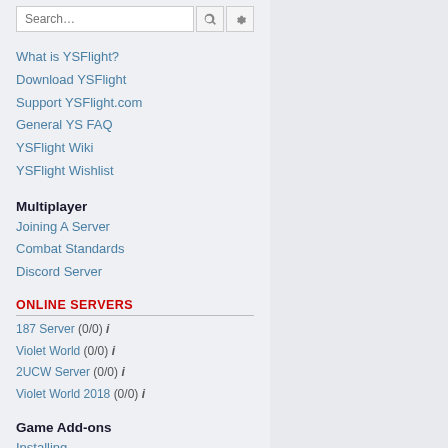What is YSFlight?
Download YSFlight
Support YSFlight.com
General YS FAQ
YSFlight Wiki
YSFlight Wishlist
Multiplayer
Joining A Server
Combat Standards
Discord Server
ONLINE SERVERS
187 Server (0/0) i
Violet World (0/0) i
2UCW Server (0/0) i
Violet World 2018 (0/0) i
Game Add-ons
Installing
Add-on Links
Searching for Add-ons
Add-on Creation
Current Projects
Decaff's Video Tutorials
Aircraft Modding school